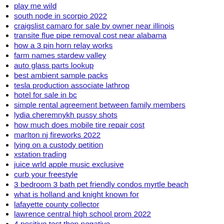play me wild
south node in scorpio 2022
craigslist camaro for sale by owner near illinois
transite flue pipe removal cost near alabama
how a 3 pin horn relay works
farm names stardew valley
auto glass parts lookup
best ambient sample packs
tesla production associate lathrop
hotel for sale in bc
simple rental agreement between family members
lydia cheremnykh pussy shots
how much does mobile tire repair cost
marlton nj fireworks 2022
lying on a custody petition
xstation trading
juice wrld apple music exclusive
curb your freestyle
3 bedroom 3 bath pet friendly condos myrtle beach
what is holland and knight known for
lafayette county collector
lawrence central high school prom 2022
4 positive test then negative
container shipping delays 2021
jj taylor on3